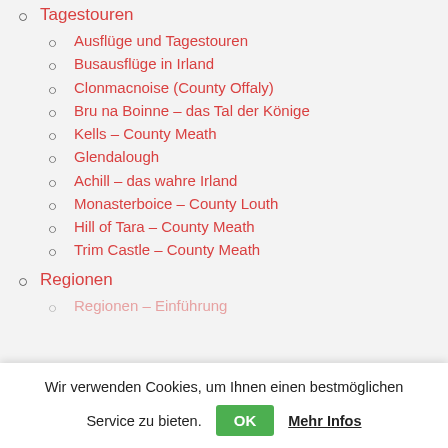Tagestouren
Ausflüge und Tagestouren
Busausflüge in Irland
Clonmacnoise (County Offaly)
Bru na Boinne – das Tal der Könige
Kells – County Meath
Glendalough
Achill – das wahre Irland
Monasterboice – County Louth
Hill of Tara – County Meath
Trim Castle – County Meath
Regionen
Regionen – Einführung
Wir verwenden Cookies, um Ihnen einen bestmöglichen Service zu bieten.
OK
Mehr Infos